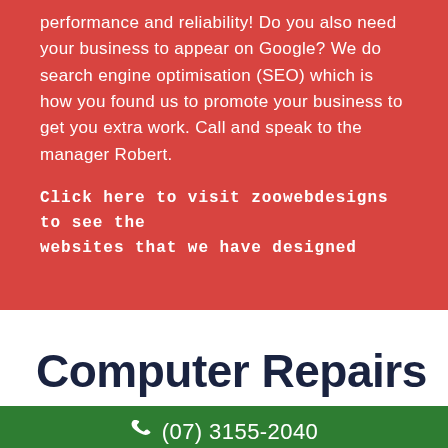performance and reliability! Do you also need your business to appear on Google? We do search engine optimisation (SEO) which is how you found us to promote your business to get you extra work. Call and speak to the manager Robert.
Click here to visit zoowebdesigns to see the websites that we have designed
Computer Repairs Brisbane
(07) 3155-2040